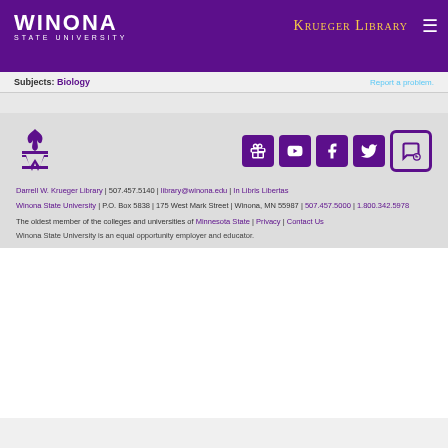WINONA STATE UNIVERSITY — Krueger Library
Subjects: Biology
Report a problem.
[Figure (logo): Winona State University W logo in purple]
[Figure (infographic): Social media icons: gift/donate, YouTube, Facebook, Twitter, and chat bubble]
Darrell W. Krueger Library | 507.457.5140 | library@winona.edu | In Libris Libertas
Winona State University | P.O. Box 5838 | 175 West Mark Street | Winona, MN 55987 | 507.457.5000 | 1.800.342.5978
The oldest member of the colleges and universities of Minnesota State | Privacy | Contact Us
Winona State University is an equal opportunity employer and educator.